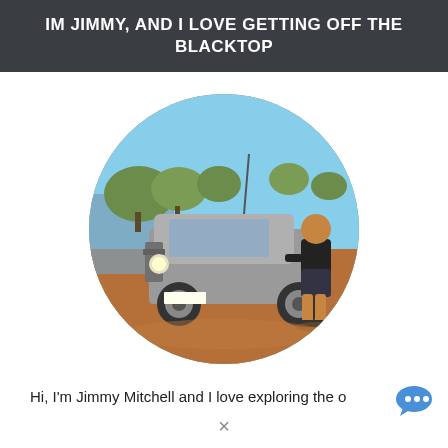IM JIMMY, AND I LOVE GETTING OFF THE BLACKTOP
[Figure (photo): Circular cropped photo of a man (Jimmy) standing next to a silver 4WD/SUV vehicle on a red dirt road in outback Australia, with trees and a water source visible in the background.]
Hi, I'm Jimmy Mitchell and I love exploring the o...
[Figure (logo): Small blue chat/messenger bird icon in the bottom right]